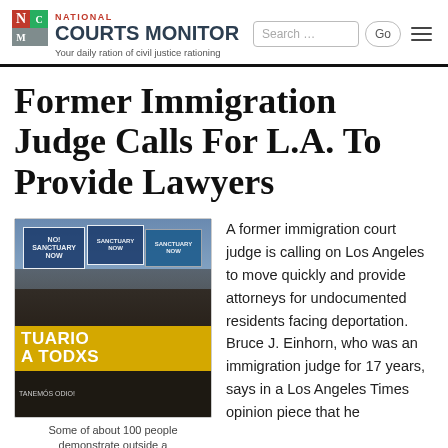NATIONAL COURTS MONITOR — Your daily ration of civil justice rationing
Former Immigration Judge Calls For L.A. To Provide Lawyers
[Figure (photo): Crowd of about 100 protesters holding signs at a rally, with a large yellow banner reading 'TUARIO A TODXS' visible in the foreground.]
Some of about 100 people demonstrate outside a
A former immigration court judge is calling on Los Angeles to move quickly and provide attorneys for undocumented residents facing deportation. Bruce J. Einhorn, who was an immigration judge for 17 years, says in a Los Angeles Times opinion piece that he